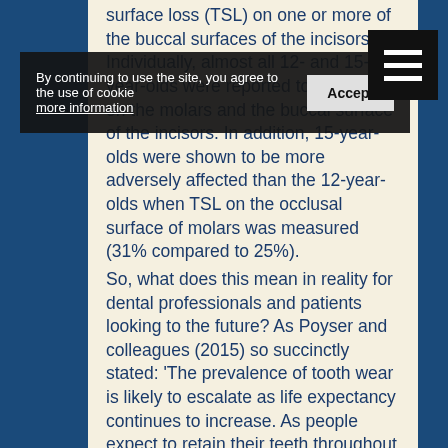surface loss (TSL) on one or more of the buccal surfaces of the incisors. Individually, almost all 12- and 15-year-olds were reported to have TSL on the molars and the buccal surface of the incisors. In addition, 15-year-olds were shown to be more adversely affected than the 12-year-olds when TSL on the occlusal surface of molars was measured (31% compared to 25%).
So, what does this mean in reality for dental professionals and patients looking to the future? As Poyser and colleagues (2015) so succinctly stated: 'The prevalence of tooth wear is likely to escalate as life expectancy continues to increase. As people expect to retain their teeth throughout life